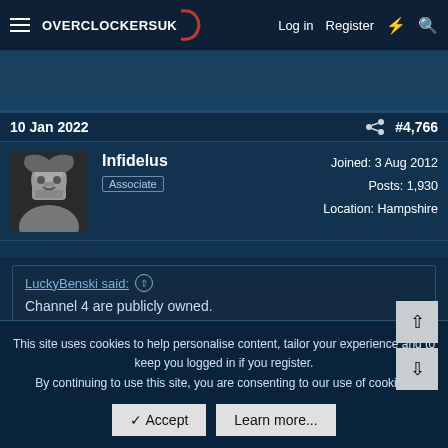OVERCLOCKERS UK — Log in | Register
[Figure (screenshot): Advertisement banner area, dark blue background]
10 Jan 2022   #4,766
[Figure (photo): User avatar photo of Infidelus — black and white headshot of a man]
Infidelus
Associate
Joined: 3 Aug 2012
Posts: 1,930
Location: Hampshire
LuckyBenski said: ↑
Channel 4 are publicly owned.
Maybe that's where I was getting confused. I'm sure I read (at some
This site uses cookies to help personalise content, tailor your experience and to keep you logged in if you register.
By continuing to use this site, you are consenting to our use of cookies.
✓ Accept   Learn more...